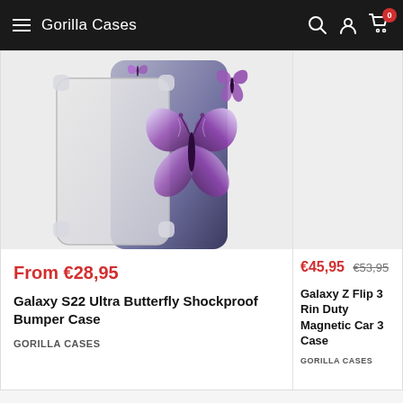Gorilla Cases
[Figure (photo): Phone cases with butterfly design on transparent/clear bumper case for Samsung Galaxy S22 Ultra, showing purple butterflies on the case]
From €28,95
Galaxy S22 Ultra Butterfly Shockproof Bumper Case
GORILLA CASES
€45,95  €53,95
Galaxy Z Flip 3 Ring Duty Magnetic Car 3 Case
GORILLA CASES